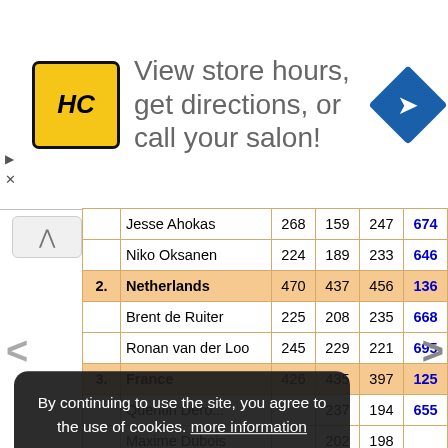[Figure (other): Advertisement banner for HC salon: logo with HC text, large text 'View store hours, get directions, or call your salon!' and a blue direction sign icon]
|  | Name | Col1 | Col2 | Col3 | Total |
| --- | --- | --- | --- | --- | --- |
|  | Jesse Ahokas | 268 | 159 | 247 | 674 |
|  | Niko Oksanen | 224 | 189 | 233 | 646 |
| 2. | Netherlands | 470 | 437 | 456 | 136... |
|  | Brent de Ruiter | 225 | 208 | 235 | 668 |
|  | Ronan van der Loo | 245 | 229 | 221 | 695 |
| 3. | France | 426 | 435 | 397 | 125... |
|  | Quentin Dero... | ... | 237 | 194 | 655 |
|  | Maxime Dubois | ... | 202 | 198 | ... |
| 4. | Ukraine | 344 | 426 | 395 | 11... |
By continuing to use the site, you agree to the use of cookies. more information
Accept